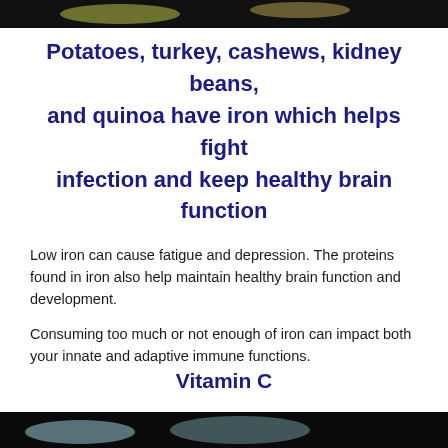[Figure (photo): Partial image at top of page, dark background with colorful elements]
Potatoes, turkey, cashews, kidney beans, and quinoa have iron which helps fight infection and keep healthy brain function
Low iron can cause fatigue and depression. The proteins found in iron also help maintain healthy brain function and development.
Consuming too much or not enough of iron can impact both your innate and adaptive immune functions.
Vitamin C
[Figure (photo): Partial image at bottom of page, dark background with colorful elements]